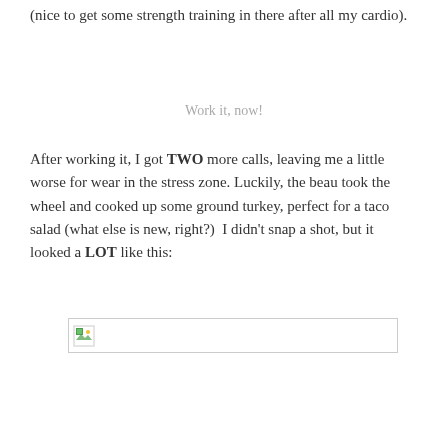(nice to get some strength training in there after all my cardio).
Work it, now!
After working it, I got TWO more calls, leaving me a little worse for wear in the stress zone. Luckily, the beau took the wheel and cooked up some ground turkey, perfect for a taco salad (what else is new, right?)  I didn't snap a shot, but it looked a LOT like this:
[Figure (photo): Broken or missing image placeholder with small image icon in top-left corner]